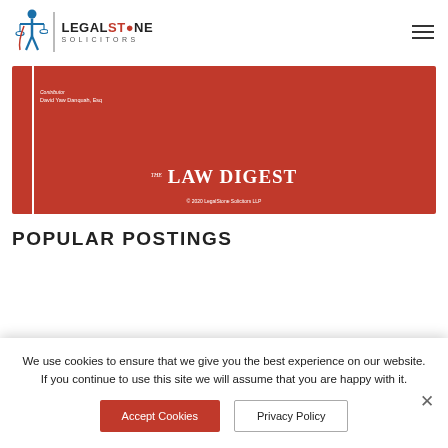[Figure (logo): LegalStone Solicitors logo: stylized figure with scales of justice icon, vertical divider, and text 'LEGALSTONE SOLICITORS']
[Figure (illustration): Red rectangular banner for 'The Law Digest' publication. Shows a white vertical bar, contributor name 'David Yaw Danquah, Esq', 'The Law Digest' title text, and copyright '© 2020 LegalStone Solicitors LLP']
POPULAR POSTINGS
We use cookies to ensure that we give you the best experience on our website. If you continue to use this site we will assume that you are happy with it.
Accept Cookies   Privacy Policy